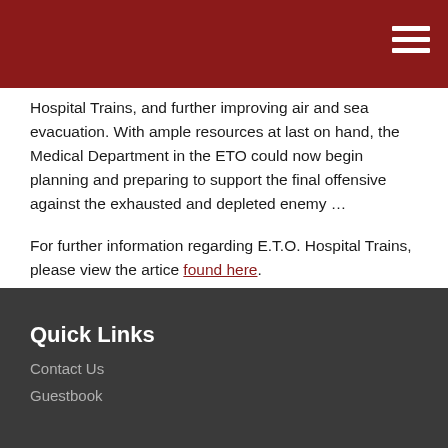Hospital Trains, and further improving air and sea evacuation. With ample resources at last on hand, the Medical Department in the ETO could now begin planning and preparing to support the final offensive against the exhausted and depleted enemy …
For further information regarding E.T.O. Hospital Trains, please view the artice found here.
Quick Links
Contact Us
Guestbook